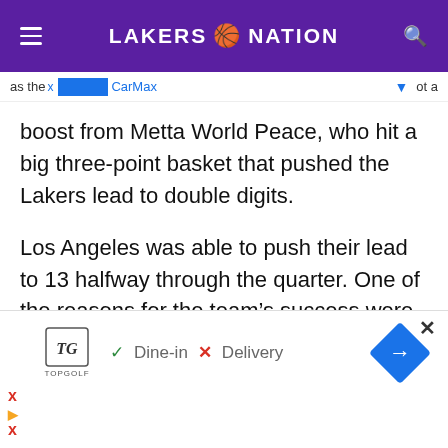LAKERS NATION
as the [ad] ot a boost from Metta World Peace, who hit a big three-point basket that pushed the Lakers lead to double digits.
Los Angeles was able to push their lead to 13 halfway through the quarter. One of the reasons for the team’s success were the contributions from players besides Bryant. World Peace, who had been playing very well before being suspended,
[Figure (screenshot): Bottom advertisement banner for Topgolf showing Dine-in and Delivery options with navigation arrow]